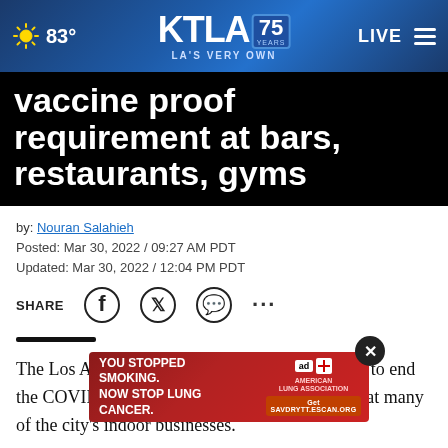83° KTLA 75 YEARS LA'S VERY OWN LIVE
vaccine proof requirement at bars, restaurants, gyms
by: Nouran Salahieh
Posted: Mar 30, 2022 / 09:27 AM PDT
Updated: Mar 30, 2022 / 12:04 PM PDT
SHARE
The Los Angeles City Council voted Wednesday to end the COVID-19 vaccine verification requirement at many of the city's indoor businesses.
The m...y
[Figure (screenshot): American Lung Association advertisement: YOU STOPPED SMOKING. NOW STOP LUNG CANCER. Get SAVDRYTT.ESCAN.ORG]